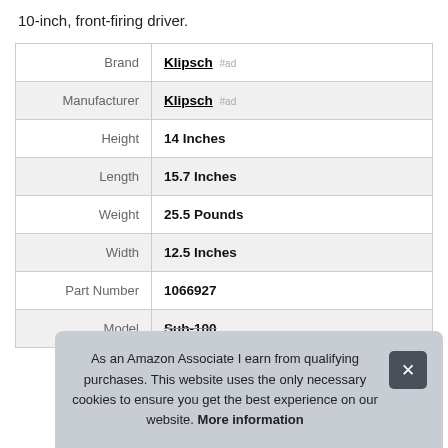10-inch, front-firing driver.
| Brand | Klipsch #ad |
| Manufacturer | Klipsch #ad |
| Height | 14 Inches |
| Length | 15.7 Inches |
| Weight | 25.5 Pounds |
| Width | 12.5 Inches |
| Part Number | 1066927 |
| Model | Sub-100 |
As an Amazon Associate I earn from qualifying purchases. This website uses the only necessary cookies to ensure you get the best experience on our website. More information